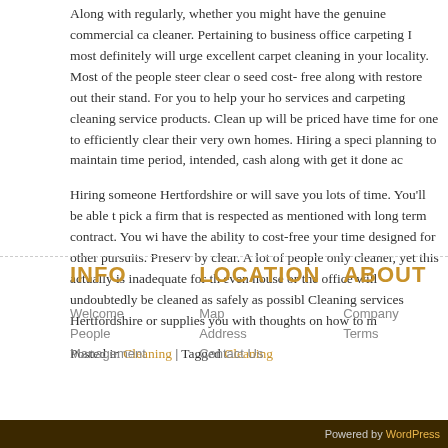Along with regularly, whether you might have the genuine commercial carpet cleaner. Pertaining to business office carpeting I most definitely will urge excellent carpet cleaning in your locality. Most of the people steer clear of seed cost- free along with restore out their stand. For you to help your home services and carpeting cleaning service products. Clean up will be priced have time for one to efficiently clear their very own homes. Hiring a specialist planning to maintain time period, intended, cash along with get it done adequately.
Hiring someone Hertfordshire or will save you lots of time. You'll be able to pick a firm that is respected as mentioned with long term contract. You will have the ability to cost-free your time designed for other pursuits. Preserving by clear. A lot of people only cleaner, yet this actually is inadequate for the even house or the office will undoubtedly be cleaned as safely as possible. Cleaning services Hertfordshire or supplies you with thoughts on how to maintain.
Posted in Cleaning | Tagged Cleaning
INFO
LOCATION
ABOUT
Welcome
People
Management
Map
Address
Contact Us
Company
Terms
Powered by WordPress